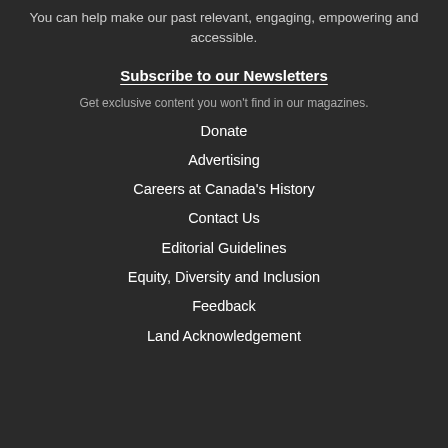You can help make our past relevant, engaging, empowering and accessible.
Subscribe to our Newsletters
Get exclusive content you won't find in our magazines.
Donate
Advertising
Careers at Canada's History
Contact Us
Editorial Guidelines
Equity, Diversity and Inclusion
Feedback
Land Acknowledgement